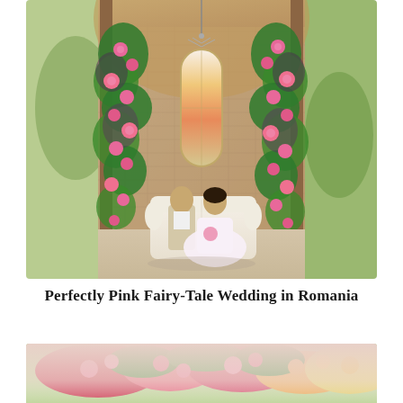[Figure (photo): A couple (groom in beige suit, bride in white off-shoulder gown) seated on a white ornate sofa in a rustic brick chapel/pavilion decorated with tall floral columns of pink roses and lush greenery on either side, a stained glass window behind them, chandelier above, greenery visible outside through arched openings.]
Perfectly Pink Fairy-Tale Wedding in Romania
[Figure (photo): A close-up of a colorful floral arrangement with pink, red, and yellow flowers with lush green foliage, on a soft blurred background of pale pink blooms.]